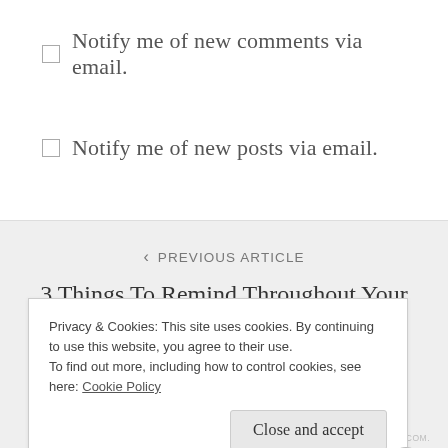Notify me of new comments via email.
Notify me of new posts via email.
PREVIOUS ARTICLE
3 Things To Remind Throughout Your Life.
Privacy & Cookies: This site uses cookies. By continuing to use this website, you agree to their use. To find out more, including how to control cookies, see here: Cookie Policy
Close and accept